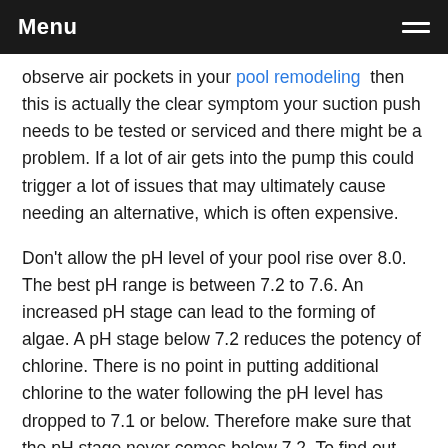Menu
observe air pockets in your pool remodeling then this is actually the clear symptom your suction push needs to be tested or serviced and there might be a problem. If a lot of air gets into the pump this could trigger a lot of issues that may ultimately cause needing an alternative, which is often expensive.
Don't allow the pH level of your pool rise over 8.0. The best pH range is between 7.2 to 7.6. An increased pH stage can lead to the forming of algae. A pH stage below 7.2 reduces the potency of chlorine. There is no point in putting additional chlorine to the water following the pH level has dropped to 7.1 or below. Therefore make sure that the pH stage never comes below 7.2. To find out about the significance of your